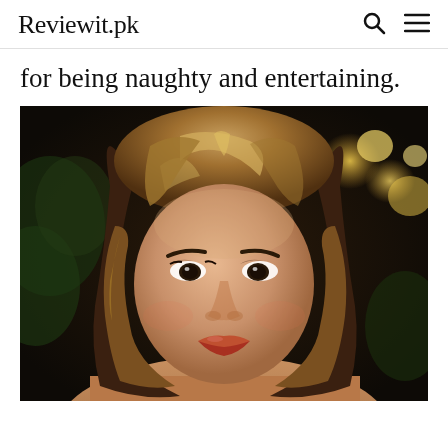Reviewit.pk
for being naughty and entertaining.
[Figure (photo): Portrait photo of a woman with shoulder-length brown hair, wearing makeup with red-orange lipstick, against a dark bokeh background with warm golden lights.]